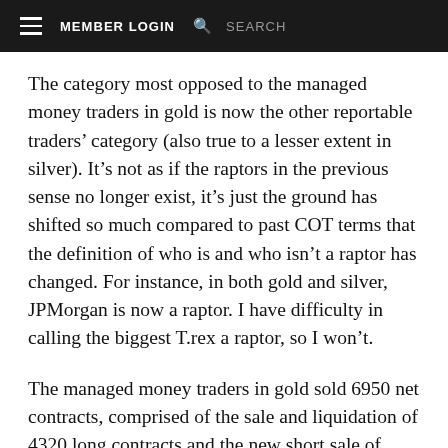≡  MEMBER LOGIN  🔍  SEARCH
The category most opposed to the managed money traders in gold is now the other reportable traders' category (also true to a lesser extent in silver). It's not as if the raptors in the previous sense no longer exist, it's just the ground has shifted so much compared to past COT terms that the definition of who is and who isn't a raptor has changed. For instance, in both gold and silver, JPMorgan is now a raptor. I have difficulty in calling the biggest T.rex a raptor, so I won't.
The managed money traders in gold sold 6950 net contracts, comprised of the sale and liquidation of 4320 long contracts and the new short sale of 2630 contracts. This was less than half of what the commercials bought (14,800 contracts) and the other large reporting traders and smaller non-